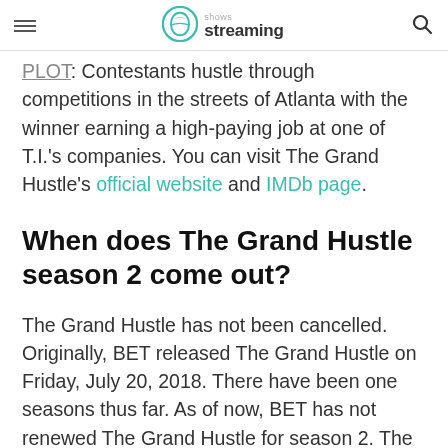shows streaming
PLOT: Contestants hustle through competitions in the streets of Atlanta with the winner earning a high-paying job at one of T.I.'s companies. You can visit The Grand Hustle's official website and IMDb page.
When does The Grand Hustle season 2 come out?
The Grand Hustle has not been cancelled. Originally, BET released The Grand Hustle on Friday, July 20, 2018. There have been one seasons thus far. As of now, BET has not renewed The Grand Hustle for season 2. The